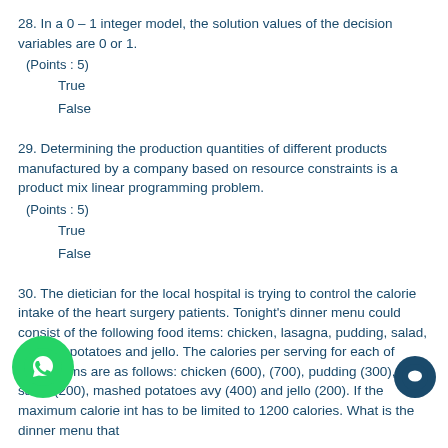28. In a 0 – 1 integer model, the solution values of the decision variables are 0 or 1.
 (Points : 5)
   True
   False
29. Determining the production quantities of different products manufactured by a company based on resource constraints is a product mix linear programming problem.
 (Points : 5)
   True
   False
30. The dietician for the local hospital is trying to control the calorie intake of the heart surgery patients. Tonight's dinner menu could consist of the following food items: chicken, lasagna, pudding, salad, mashed potatoes and jello. The calories per serving for each of these items are as follows: chicken (600), [lasagna] (700), pudding (300), salad (200), mashed potatoes [with gra]vy (400) and jello (200). If the maximum calorie int[ake] has to be limited to 1200 calories. What is the dinner menu that